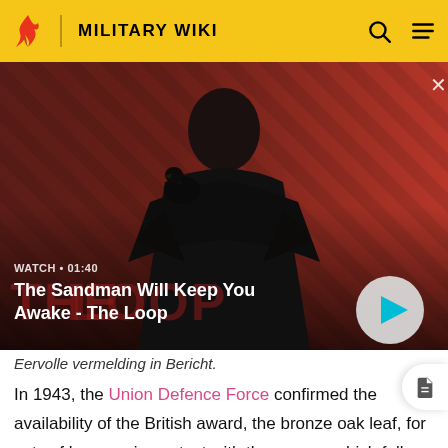MILITARY WIKI
[Figure (screenshot): Video thumbnail showing a dark figure (person with a bird on shoulder) against a red and dark diagonal striped background. Title 'The Loop' is visible. Watch time shown as 01:40. A play button appears on the right.]
WATCH • 01:40
The Sandman Will Keep You Awake - The Loop
Eervolle vermelding in Bericht.
In 1943, the Union Defence Force confirmed the availability of the British award, the bronze oak leaf, for acts of bravery, in contact with the enemy, which fell just short of the standard required for the granting of a